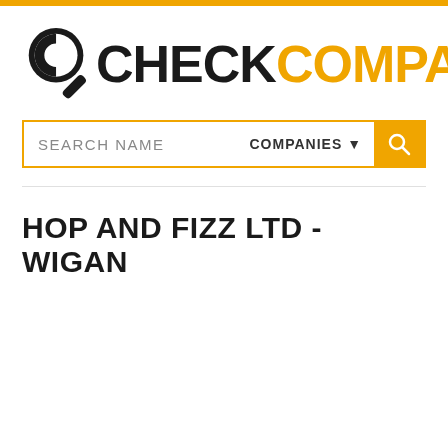[Figure (logo): CheckCompany logo with magnifying glass icon, CHECK in black bold text and COMPANY in orange bold text]
SEARCH NAME   COMPANIES ▼
HOP AND FIZZ LTD - WIGAN